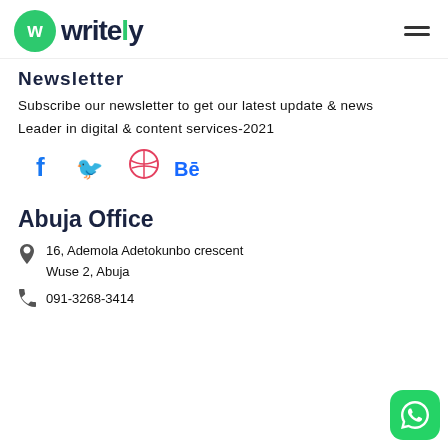Writely logo and navigation
Newsletter
Subscribe our newsletter to get our latest update & news
Leader in digital & content services-2021
[Figure (other): Social media icons: Facebook, Twitter, Dribbble, Behance]
Abuja Office
16, Ademola Adetokunbo crescent
Wuse 2, Abuja
091-3268-3414